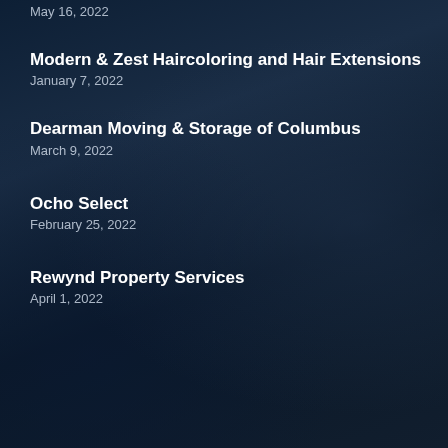Modern & Zest Haircoloring and Hair Extensions
January 7, 2022
Dearman Moving & Storage of Columbus
March 9, 2022
Ocho Select
February 25, 2022
Rewynd Property Services
April 1, 2022